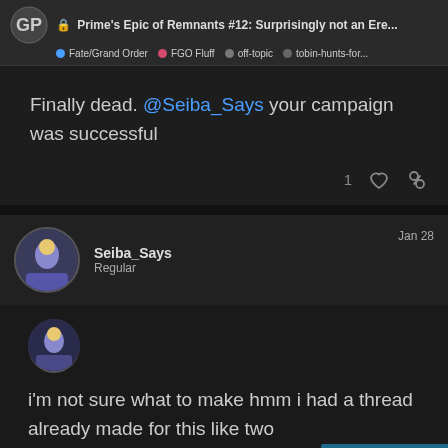Prime's Epic of Remnants #12: Surprisingly not an Ere... | Fate/Grand Order | FGO Fluff | off-topic | tobin-hunts-for...
Finally dead. @Seiba_Says your campaign was successful
1 [heart] [link]
Seiba_Says
Regular
Jan 28
i'm not sure what to make hmm i had a thread already made for this like two ... none fate so i'll make a new o...
1076 / 3001